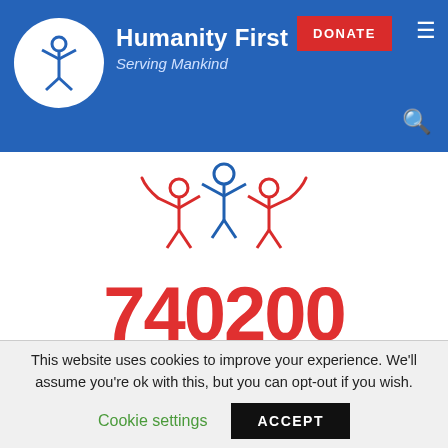Humanity First — Serving Mankind
[Figure (logo): Humanity First logo: white circle with blue stylized figure raising arms, text 'Humanity First Serving Mankind' on blue header background]
[Figure (illustration): Red icon of three stylized human figures with raised arms arranged together, on white background]
740200
VOLUNTEER HOURS
This website uses cookies to improve your experience. We'll assume you're ok with this, but you can opt-out if you wish.
Cookie settings   ACCEPT